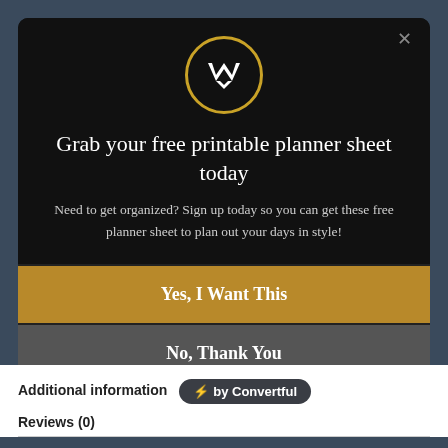[Figure (logo): Circular logo with gold border, black background, and white M/W crown symbol]
Grab your free printable planner sheet today
Need to get organized? Sign up today so you can get these free planner sheet to plan out your days in style!
Yes, I Want This
No, Thank You
Additional information
⚡ by Convertful
Reviews (0)